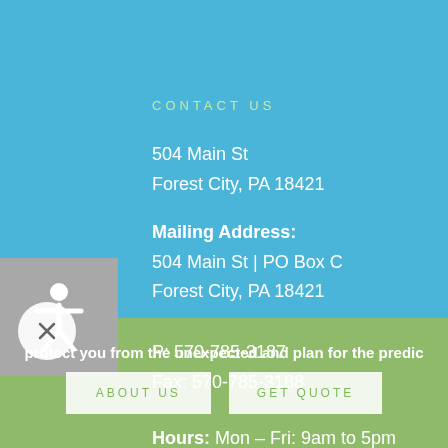CONTACT US
504 Main St
Forest City, PA 18421
Mailing Address:
504 Main St | PO Box C
Forest City, PA 18421
P: 570-785-3187
Fax: 570-785-3188
Hours: Mon – Fri: 9am to 5pm
protect you from the unexpected and plan for the predic
ABOUT US
GET QUOTE